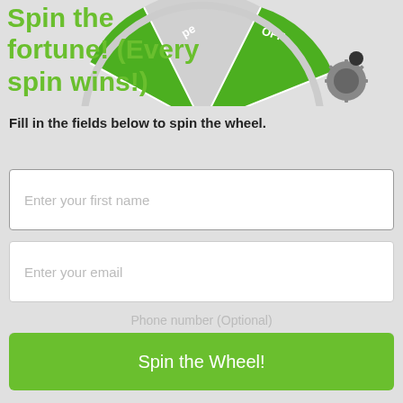[Figure (illustration): Partially visible spinning wheel/prize wheel with green and white segments, showing text fragments including 'pe' and 'OFF'. A dark gear/cog element is visible at bottom right of the wheel.]
Spin the… fortune! (Every spin wins!)
Fill in the fields below to spin the wheel.
Enter your first name
Enter your email
Phone number (Optional)
Country | +XXX | XXXXXXXXX
Spin the Wheel!